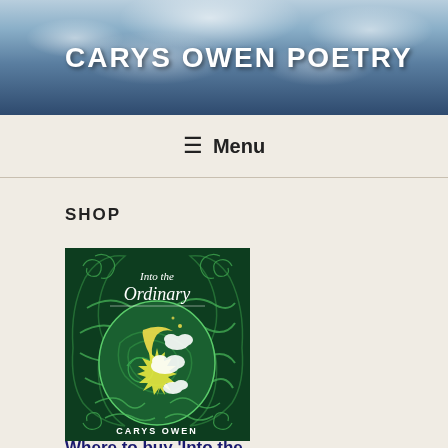CARYS OWEN POETRY
≡ Menu
SHOP
[Figure (illustration): Book cover of 'Into the Ordinary' by Carys Owen — dark green background with stylized swirling art nouveau pattern featuring a crescent moon, sun burst, white cloud shapes, and decorative spirals in shades of green, yellow and white. Title text in white cursive script reads 'Into the Ordinary'. Author name 'CARYS OWEN' at the bottom.]
Where to buy 'Into the Ordinary'